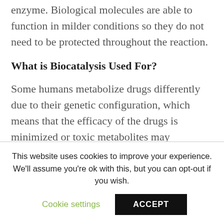enzyme. Biological molecules are able to function in milder conditions so they do not need to be protected throughout the reaction.
What is Biocatalysis Used For?
Some humans metabolize drugs differently due to their genetic configuration, which means that the efficacy of the drugs is minimized or toxic metabolites may accumulate in bodies. There are also some
This website uses cookies to improve your experience. We'll assume you're ok with this, but you can opt-out if you wish.
Cookie settings   ACCEPT